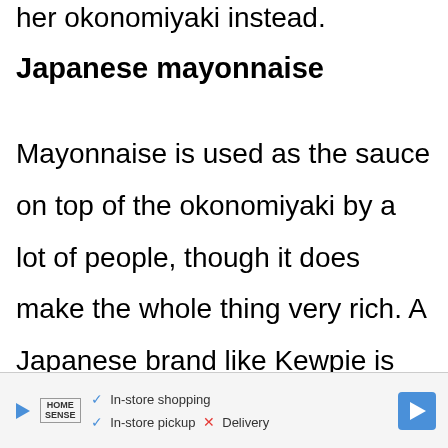her okonomiyaki instead.
Japanese mayonnaise
Mayonnaise is used as the sauce on top of the okonomiyaki by a lot of people, though it does make the whole thing very rich. A Japanese brand like Kewpie is preferred, though Hellman's or whatever works too. It adds richness and a touch of acidity.
[Figure (infographic): Advertisement banner for Home Sense store showing checkmarks for In-store shopping and In-store pickup, an X for Delivery, navigation arrow icon, play button icon, and Home Sense logo.]